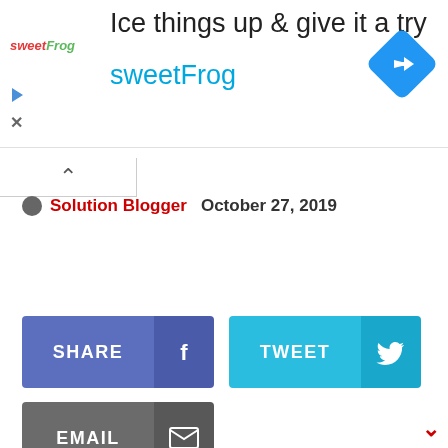[Figure (screenshot): Advertisement banner for sweetFrog frozen yogurt: 'Ice things up & give it a try' with sweetFrog logo, navigation icon (blue diamond with arrow), play triangle, and X close button.]
Solution Blogger   October 27, 2019
[Figure (screenshot): Social share buttons: SHARE (Facebook, blue-purple), TWEET (Twitter, cyan), EMAIL (grey) with icons.]
v (chevron down, red)